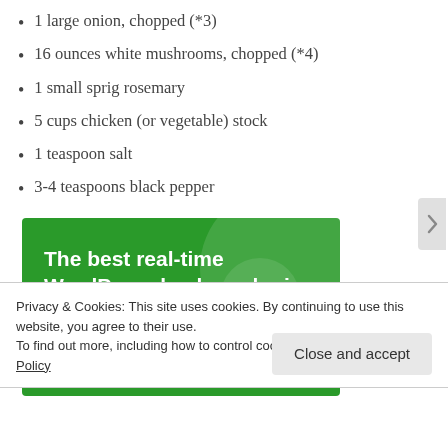1 large onion, chopped (*3)
16 ounces white mushrooms, chopped (*4)
1 small sprig rosemary
5 cups chicken (or vegetable) stock
1 teaspoon salt
3-4 teaspoons black pepper
[Figure (infographic): Green banner advertisement: 'The best real-time WordPress backup plugin' with white text on green background]
Privacy & Cookies: This site uses cookies. By continuing to use this website, you agree to their use.
To find out more, including how to control cookies, see here: Cookie Policy
Close and accept